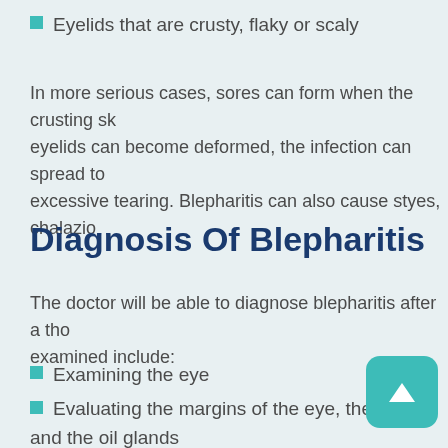Eyelids that are crusty, flaky or scaly
In more serious cases, sores can form when the crusting skin eyelids can become deformed, the infection can spread to excessive tearing. Blepharitis can also cause styes, chalazio
Diagnosis Of Blepharitis
The doctor will be able to diagnose blepharitis after a thorough examination include:
Examining the eye
Evaluating the margins of the eye, the eyela and the oil glands